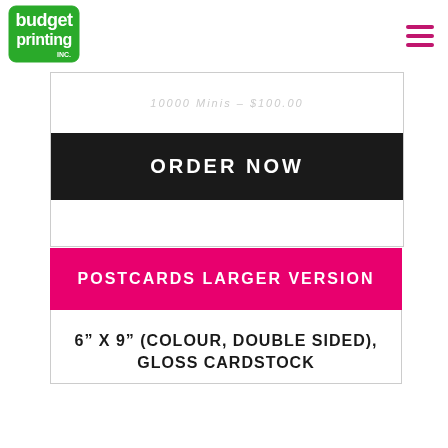budget printing
10000 Minis – $100.00
ORDER NOW
POSTCARDS LARGER VERSION
6" X 9" (COLOUR, DOUBLE SIDED), GLOSS CARDSTOCK